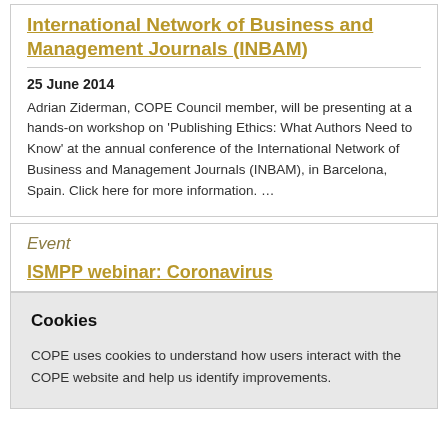International Network of Business and Management Journals (INBAM)
25 June 2014
Adrian Ziderman, COPE Council member, will be presenting at a hands-on workshop on 'Publishing Ethics: What Authors Need to Know' at the annual conference of the International Network of Business and Management Journals (INBAM), in Barcelona, Spain. Click here for more information. …
Event
ISMPP webinar: Coronavirus
Cookies
COPE uses cookies to understand how users interact with the COPE website and help us identify improvements.